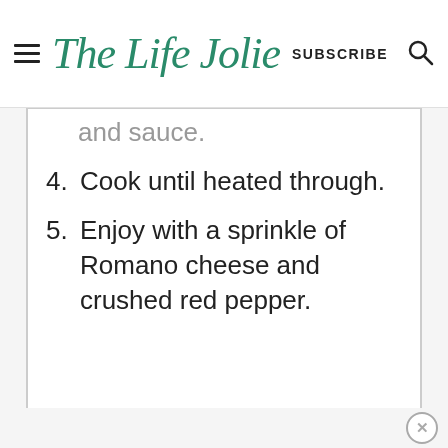The Life Jolie | SUBSCRIBE
and sauce.
4. Cook until heated through.
5. Enjoy with a sprinkle of Romano cheese and crushed red pepper.